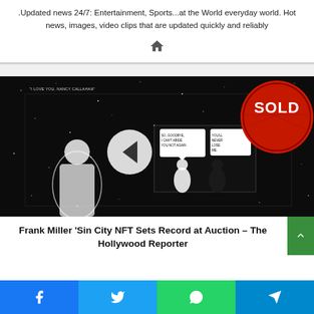.Updated news 24/7: Entertainment, Sports...at the World everyday world. Hot news, images, video clips that are updated quickly and reliably
[Figure (illustration): Comic-style black and white image with a 'SOLD' red badge, featuring a Sin City NFT artwork with a left-pointing arrow navigation button overlaid in the center]
Frank Miller ‘Sin City NFT Sets Record at Auction – The Hollywood Reporter